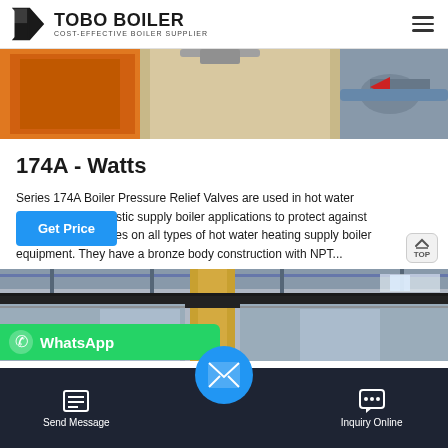TOBO BOILER — COST-EFFECTIVE BOILER SUPPLIER
[Figure (photo): Industrial boiler equipment photo showing orange machine, metallic surfaces, and piping with red arrow]
174A - Watts
Series 174A Boiler Pressure Relief Valves are used in hot water domestic supply boiler applications to protect against pressures on all types of hot water heating supply boiler equipment. They have a bronze body construction with NPT...
[Figure (photo): Industrial boiler facility interior showing large cylindrical tanks, insulated piping, and warehouse structure]
Send Message | Inquiry Online